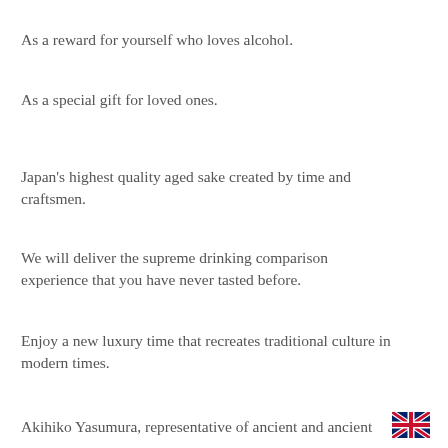As a reward for yourself who loves alcohol.
As a special gift for loved ones.
Japan's highest quality aged sake created by time and craftsmen.
We will deliver the supreme drinking comparison experience that you have never tasted before.
Enjoy a new luxury time that recreates traditional culture in modern times.
Akihiko Yasumura, representative of ancient and ancient
[Figure (illustration): UK flag emoji in the bottom right corner]